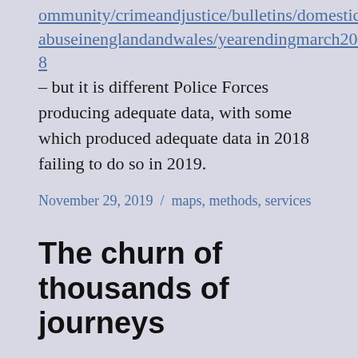ommunity/crimeandjustice/bulletins/domesticabuseinenglandandwales/yearendingmarch2018 – but it is different Police Forces producing adequate data, with some which produced adequate data in 2018 failing to do so in 2019.
November 29, 2019 / maps, methods, services
The churn of thousands of journeys
Most local authorities have around the same number of women arriving to access services because of domestic violence as the number of women who leave their area due to the